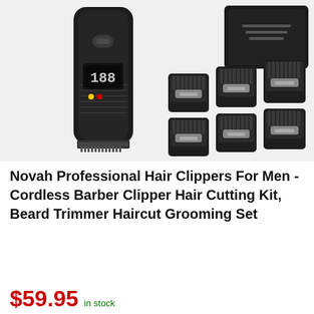[Figure (photo): Product photo showing a black cordless hair clipper with an LED display showing '188', alongside six black comb guide attachments of various sizes, and a black product box in the background.]
Novah Professional Hair Clippers For Men - Cordless Barber Clipper Hair Cutting Kit, Beard Trimmer Haircut Grooming Set
$59.95 in stock